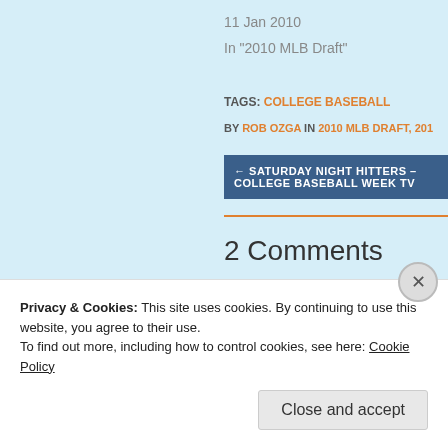11 Jan 2010
In "2010 MLB Draft"
TAGS: COLLEGE BASEBALL
BY ROB OZGA IN 2010 MLB DRAFT, 201...
← SATURDAY NIGHT HITTERS – COLLEGE BASEBALL WEEK TV
2 Comments
mike agar
3 MAR 2010 AT 6:07 PM
Privacy & Cookies: This site uses cookies. By continuing to use this website, you agree to their use.
To find out more, including how to control cookies, see here: Cookie Policy
Close and accept